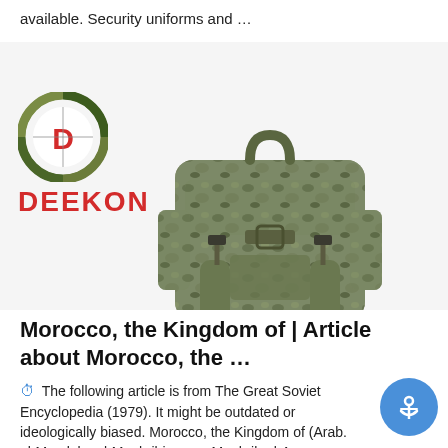available. Security uniforms and …
[Figure (photo): Deekon brand logo (camouflage circular emblem with red D) above DEEKON wordmark in red, alongside a military camouflage tactical backpack on white background]
Morocco, the Kingdom of | Article about Morocco, the …
⏱ The following article is from The Great Soviet Encyclopedia (1979). It might be outdated or ideologically biased. Morocco, the Kingdom of (Arab. al-Mamlaka al-Maghribiyya, or Maghrib al-Aqsa, literally